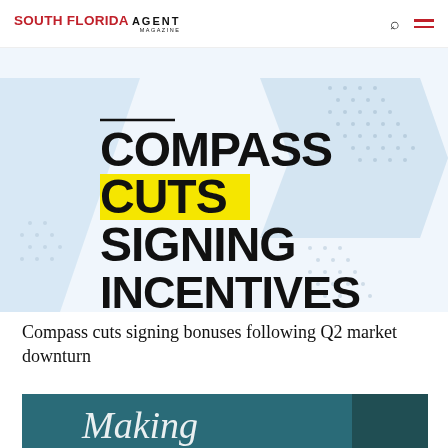SOUTH FLORIDA AGENT MAGAZINE
[Figure (illustration): Promotional graphic with text 'COMPASS CUTS SIGNING INCENTIVES' on a light blue geometric background with dot patterns. The word CUTS has a yellow highlight.]
Compass cuts signing bonuses following Q2 market downturn
[Figure (photo): Partial view of a photo with teal/dark background and white script text partially visible at the bottom of the page.]